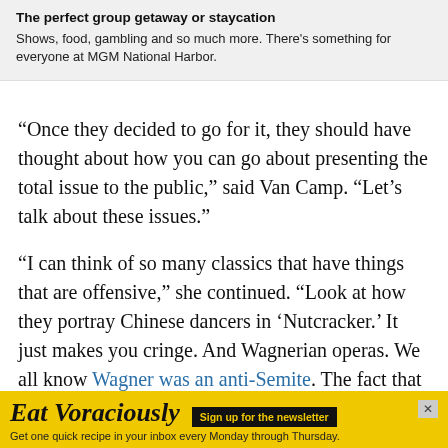[Figure (other): Advertisement box for MGM National Harbor with bold title and descriptive text on light grey background]
“Once they decided to go for it, they should have thought about how you can go about presenting the total issue to the public,” said Van Camp. “Let’s talk about these issues.”
“I can think of so many classics that have things that are offensive,” she continued. “Look at how they portray Chinese dancers in ‘Nutcracker.’ It just makes you cringe. And Wagnerian operas. We all know Wagner was an anti-Semite. The fact that Hitler liked Wagner, should we ban
[Figure (other): Advertisement banner for Eat Voraciously newsletter with yellow background, bold title, Sign up button, and tagline]